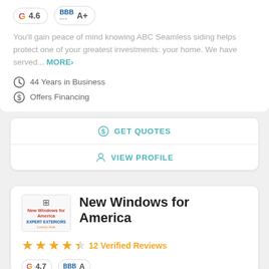[Figure (logo): Google rating badge: G 4.6]
[Figure (logo): BBB A+ rating badge]
You'll gain peace of mind knowing ABC Seamless siding helps protect one of your greatest investments: your home. We have served... MORE>
44 Years in Business
Offers Financing
GET QUOTES
VIEW PROFILE
[Figure (logo): New Windows for America company logo]
New Windows for America
[Figure (other): 4.5 star rating display]
12 Verified Reviews